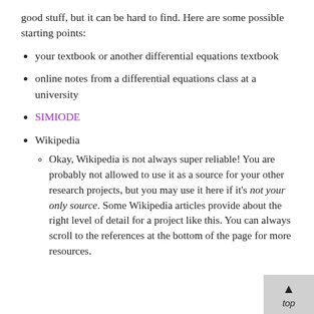good stuff, but it can be hard to find. Here are some possible starting points:
your textbook or another differential equations textbook
online notes from a differential equations class at a university
SIMIODE
Wikipedia
Okay, Wikipedia is not always super reliable! You are probably not allowed to use it as a source for your other research projects, but you may use it here if it's not your only source. Some Wikipedia articles provide about the right level of detail for a project like this. You can always scroll to the references at the bottom of the page for more resources.